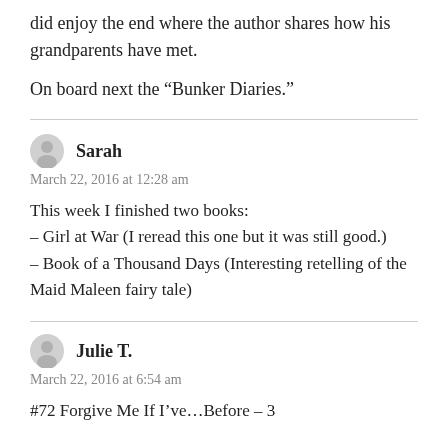did enjoy the end where the author shares how his grandparents have met.
On board next the “Bunker Diaries.”
Sarah
March 22, 2016 at 12:28 am
This week I finished two books:
– Girl at War (I reread this one but it was still good.)
– Book of a Thousand Days (Interesting retelling of the Maid Maleen fairy tale)
Julie T.
March 22, 2016 at 6:54 am
#72 Forgive Me If I’ve…Before – 3